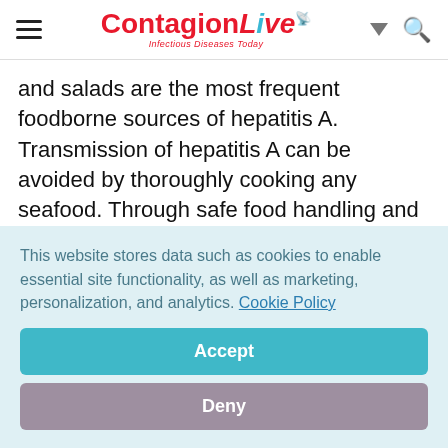ContagionLive — Infectious Diseases Today
and salads are the most frequent foodborne sources of hepatitis A. Transmission of hepatitis A can be avoided by thoroughly cooking any seafood. Through safe food handling and preparation measures, as well as performing good hand hygiene (thoroughly washing hands with soap and water) before food consumption
This website stores data such as cookies to enable essential site functionality, as well as marketing, personalization, and analytics. Cookie Policy
Accept
Deny